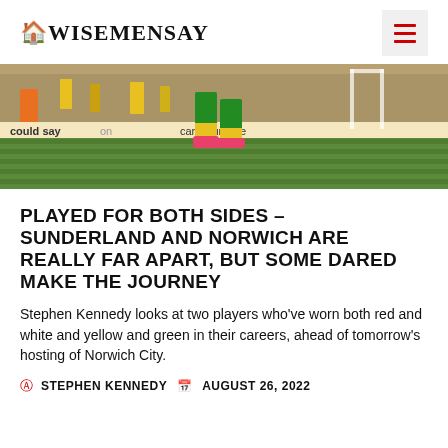WiseMenSay
[Figure (photo): A footballer in green and yellow Norwich City kit walking on a pitch with a crowd in the background and advertising boards reading 'could say... car insurance']
PLAYED FOR BOTH SIDES – SUNDERLAND AND NORWICH ARE REALLY FAR APART, BUT SOME DARED MAKE THE JOURNEY
Stephen Kennedy looks at two players who've worn both red and white and yellow and green in their careers, ahead of tomorrow's hosting of Norwich City.
STEPHEN KENNEDY  AUGUST 26, 2022